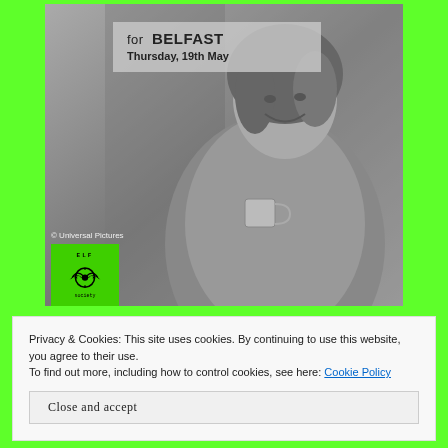[Figure (photo): Black and white photo of a woman laughing and holding a mug, with an overlay text box reading 'for BELFAST Thursday, 19th May' and a green film society logo in the bottom left corner with copyright text '© Universal Pictures']
Privacy & Cookies: This site uses cookies. By continuing to use this website, you agree to their use.
To find out more, including how to control cookies, see here: Cookie Policy
Close and accept